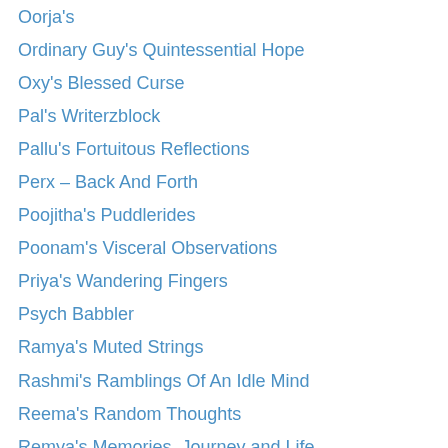Oorja's
Ordinary Guy's Quintessential Hope
Oxy's Blessed Curse
Pal's Writerzblock
Pallu's Fortuitous Reflections
Perx – Back And Forth
Poojitha's Puddlerides
Poonam's Visceral Observations
Priya's Wandering Fingers
Psych Babbler
Ramya's Muted Strings
Rashmi's Ramblings Of An Idle Mind
Reema's Random Thoughts
Remya's Memories, Journey and Life
Rocksea
Sahaja's Everlasting Smile
Saira's
Sakhi's Laghukatha
Sakshi's Anonymously Disguised Chronicles
Sangeetha's Serenity…!!!!